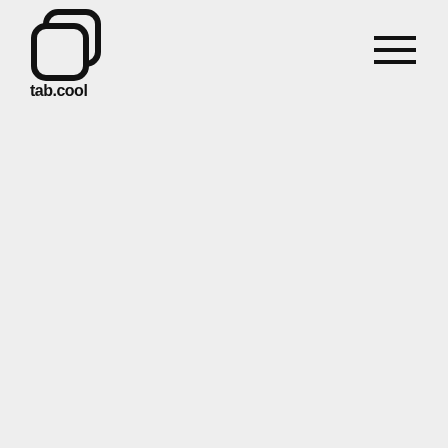[Figure (logo): tab.cool logo: two overlapping rounded squares icon with text 'tab.cool' below]